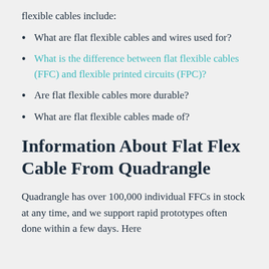flexible cables include:
What are flat flexible cables and wires used for?
What is the difference between flat flexible cables (FFC) and flexible printed circuits (FPC)?
Are flat flexible cables more durable?
What are flat flexible cables made of?
Information About Flat Flex Cable From Quadrangle
Quadrangle has over 100,000 individual FFCs in stock at any time, and we support rapid prototypes often done within a few days. Here